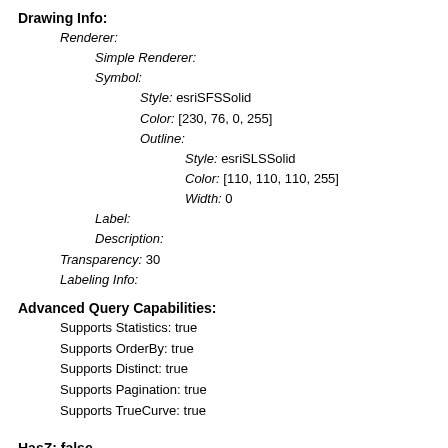Drawing Info:
Renderer:
  Simple Renderer:
  Symbol:
    Style: esriSFSSolid
    Color: [230, 76, 0, 255]
    Outline:
      Style: esriSLSSolid
      Color: [110, 110, 110, 255]
      Width: 0
  Label:
  Description:
Transparency: 30
Labeling Info:
Advanced Query Capabilities:
Supports Statistics: true
Supports OrderBy: true
Supports Distinct: true
Supports Pagination: true
Supports TrueCurve: true
HasZ: false
HasM: false